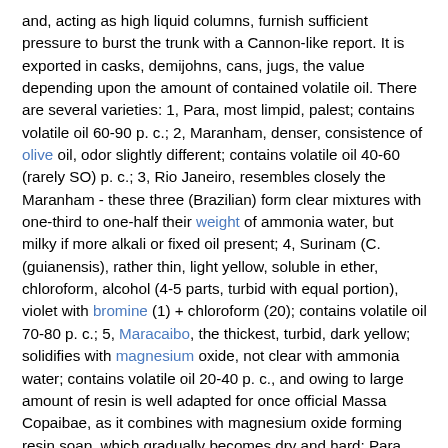and, acting as high liquid columns, furnish sufficient pressure to burst the trunk with a Cannon-like report. It is exported in casks, demijohns, cans, jugs, the value depending upon the amount of contained volatile oil. There are several varieties: 1, Para, most limpid, palest; contains volatile oil 60-90 p. c.; 2, Maranham, denser, consistence of olive oil, odor slightly different; contains volatile oil 40-60 (rarely SO) p. c.; 3, Rio Janeiro, resembles closely the Maranham - these three (Brazilian) form clear mixtures with one-third to one-half their weight of ammonia water, but milky if more alkali or fixed oil present; 4, Surinam (C. (guianensis), rather thin, light yellow, soluble in ether, chloroform, alcohol (4-5 parts, turbid with equal portion), violet with bromine (1) + chloroform (20); contains volatile oil 70-80 p. c.; 5, Maracaibo, the thickest, turbid, dark yellow; solidifies with magnesium oxide, not clear with ammonia water; contains volatile oil 20-40 p. c., and owing to large amount of resin is well adapted for once official Massa Copaibae, as it combines with magnesium oxide forming resin soap, which gradually becomes dry and hard; Para and other varieties may be used but sufficient volatile oil must be evaporated to render residue viscid upon cooling. Copaiba is exported not only from the above ports, but also from Angostura, Cayenne, W. Indies, Trinidad, C.